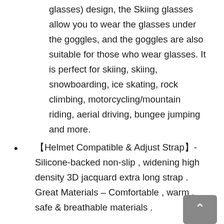glasses) design, the Skiing glasses allow you to wear the glasses under the goggles, and the goggles are also suitable for those who wear glasses. It is perfect for skiing, skiing, snowboarding, ice skating, rock climbing, motorcycling/mountain riding, aerial driving, bungee jumping and more.
【Helmet Compatible & Adjust Strap】-Silicone-backed non-slip , widening high density 3D jacquard extra long strap . Great Materials – Comfortable , warm , safe & breathable materials .